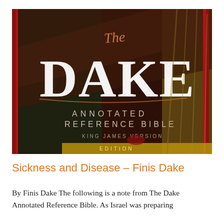[Figure (photo): Close-up photo of the cover of 'The Dake Annotated Reference Bible, King James Version' showing the book title in large white letters on a dark background with decorative imagery.]
Sickness and Disease – Finis Dake
By Finis Dake The following is a note from The Dake Annotated Reference Bible. As Israel was preparing